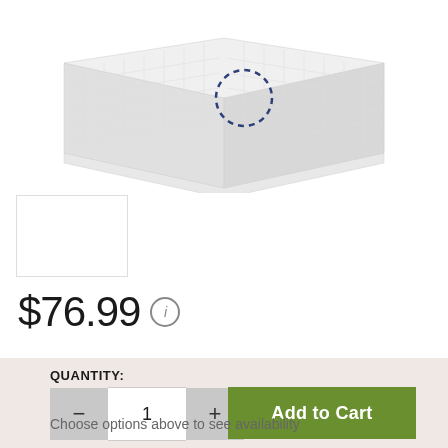[Figure (illustration): Product image showing a white/light gray storage organizer or bin with a dashed circle detail, viewed from an isometric angle]
[Figure (photo): Small product thumbnail image in bottom-left thumbnail strip]
$76.99
QUANTITY:
1
Add to Cart
Choose options above to see availability